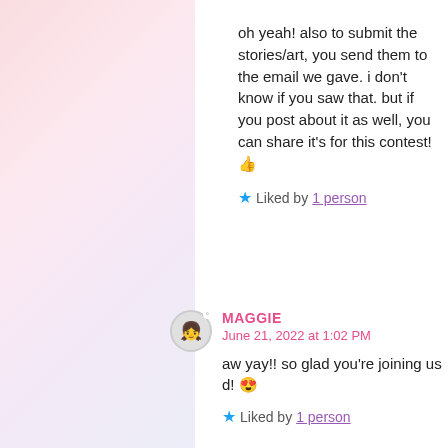oh yeah! also to submit the stories/art, you send them to the email we gave. i don't know if you saw that. but if you post about it as well, you can share it's for this contest! 👍
★ Liked by 1 person
MAGGIE
June 21, 2022 at 1:02 PM

aw yay!! so glad you're joining us d! 😍
★ Liked by 1 person